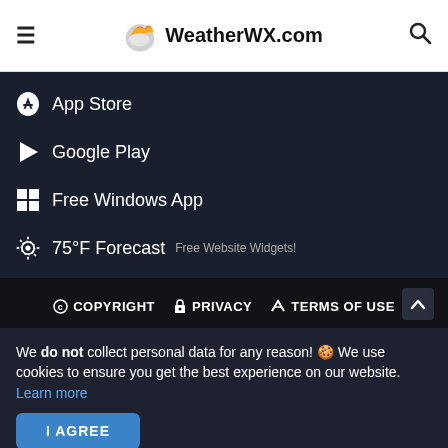WeatherWX.com
App Store
Google Play
Free Windows App
75°F Forecast  Free Website Widgets!
QR Code This Page
© COPYRIGHT   🔒 PRIVACY   🔑 TERMS OF USE
We do not collect personal data for any reason! 🍪 We use cookies to ensure you get the best experience on our website. Learn more
I AGREE